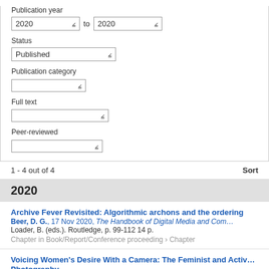[Figure (screenshot): Filter form with Publication year dropdowns (2020 to 2020), Status dropdown (Published), Publication category dropdown (empty), Full text dropdown (empty), Peer-reviewed dropdown (empty)]
1 - 4 out of 4
Sort
2020
Archive Fever Revisited: Algorithmic archons and the ordering
Beer, D. G., 17 Nov 2020, The Handbook of Digital Media and Com…
Loader, B. (eds.). Routledge, p. 99-112 14 p.
Chapter in Book/Report/Conference proceeding › Chapter
Voicing Women's Desire With a Camera: The Feminist and Activ… Photography
Tsao, K-W. E., 1 Jul 2020, Multidisciplinary Perspectives on Women…
PA: IGI Global, p. 254-281 28 p.
Chapter in Book/Report/Conference proceeding › Chapter